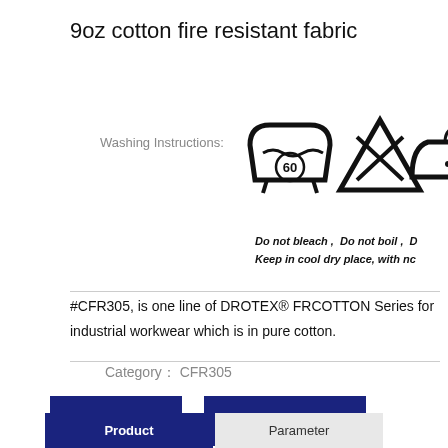9oz cotton fire resistant fabric
[Figure (illustration): Washing instruction care symbols: wash at 60 degrees, do not bleach (X), iron (iron symbol), and another symbol partially visible]
Do not bleach , Do not boil , Keep in cool dry place, with no
#CFR305, is one line of DROTEX® FRCOTTON Series for industrial workwear which is in pure cotton.
Category： CFR305
Contact
Message
Product
Parameter